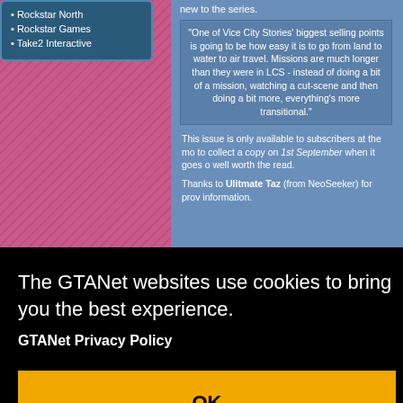Rockstar North
Rockstar Games
Take2 Interactive
new to the series.
"One of Vice City Stories' biggest selling points is going to be how easy it is to go from land to water to air travel. Missions are much longer than they were in LCS - instead of doing a bit of a mission, watching a cut-scene and then doing a bit more, everything's more transitional."
This issue is only available to subscribers at the moment but head to collect a copy on 1st September when it goes on sale – it'll be well worth the read.
Thanks to Ulitmate Taz (from NeoSeeker) for providing this information.
and More
General
on CVG yeste ous other site ies in our sc nages in the a o be sure to c
amesMaster (U @ GTAForum all the latest n
The GTANet websites use cookies to bring you the best experience.
GTANet Privacy Policy
OK